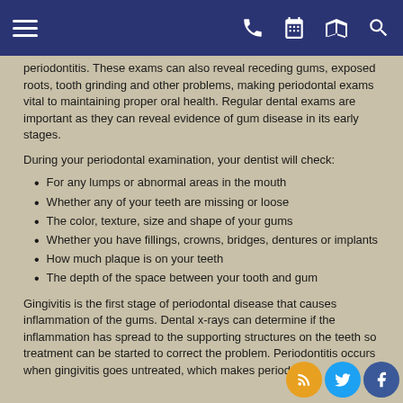[Navigation bar with menu, phone, calendar, map and search icons]
periodontitis. These exams can also reveal receding gums, exposed roots, tooth grinding and other problems, making periodontal exams vital to maintaining proper oral health. Regular dental exams are important as they can reveal evidence of gum disease in its early stages.
During your periodontal examination, your dentist will check:
For any lumps or abnormal areas in the mouth
Whether any of your teeth are missing or loose
The color, texture, size and shape of your gums
Whether you have fillings, crowns, bridges, dentures or implants
How much plaque is on your teeth
The depth of the space between your tooth and gum
Gingivitis is the first stage of periodontal disease that causes inflammation of the gums. Dental x-rays can determine if the inflammation has spread to the supporting structures on the teeth so treatment can be started to correct the problem. Periodontitis occurs when gingivitis goes untreated, which makes periodontal susceptible to correction and getting, and to remediate